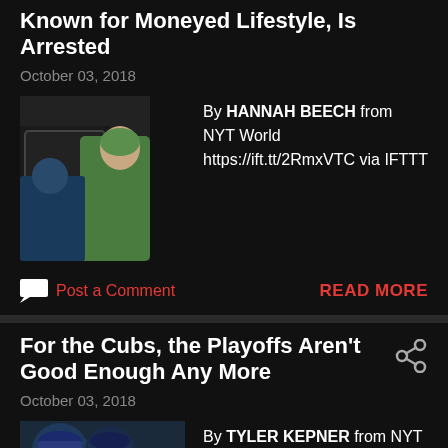Known for Moneyed Lifestyle, Is Arrested
October 03, 2018
[Figure (photo): News article thumbnail showing people near a car, a woman in green clothing]
By HANNAH BEECH from NYT World https://ift.tt/2RmxVTC via IFTTT
Post a Comment
READ MORE
For the Cubs, the Playoffs Aren't Good Enough Any More
October 03, 2018
[Figure (photo): News article thumbnail showing people with baseball caps]
By TYLER KEPNER from NYT Sports